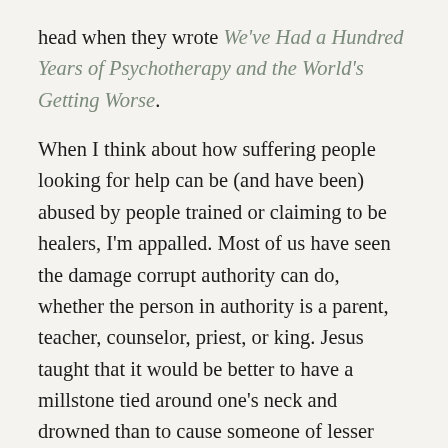head when they wrote We've Had a Hundred Years of Psychotherapy and the World's Getting Worse. When I think about how suffering people looking for help can be (and have been) abused by people trained or claiming to be healers, I'm appalled. Most of us have seen the damage corrupt authority can do, whether the person in authority is a parent, teacher, counselor, priest, or king. Jesus taught that it would be better to have a millstone tied around one's neck and drowned than to cause someone of lesser power (dignity, standing) to become entrapped, offended, deceived, enticed away from what is real and true–most particularly, away from